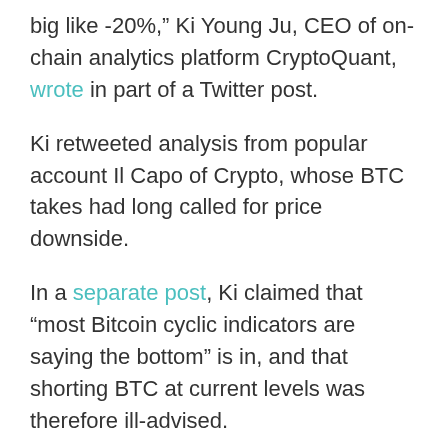big like -20%,” Ki Young Ju, CEO of on-chain analytics platform CryptoQuant, wrote in part of a Twitter post.
Ki retweeted analysis from popular account Il Capo of Crypto, whose BTC takes had long called for price downside.
In a separate post, Ki claimed that “most Bitcoin cyclic indicators are saying the bottom” is in, and that shorting BTC at current levels was therefore ill-advised.
“Not sure how long it would take for consolidation in this range tho. Opening a big short position here sounds not a good idea unless you think that $BTC is going to zero,” he wrote.